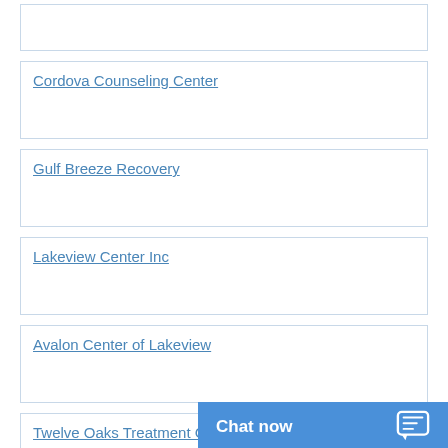Cordova Counseling Center
Gulf Breeze Recovery
Lakeview Center Inc
Avalon Center of Lakeview
Twelve Oaks Treatment C...